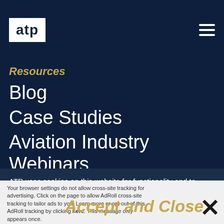atp
Resources
Blog
Case Studies
Aviation Industry Webinars
White Papers
ATP uses cookies on this website for functionality and to monitor and improve products. By using this website you agree to our Privacy Policy and Cookie Policy. To customize your cookie settings click here.
Your browser settings do not allow cross-site tracking for advertising. Click on the page to allow AdRoll cross-site tracking to tailor ads to you. Learn more or opt out of this AdRoll tracking by clicking here. This message only appears once.
Accept and Close